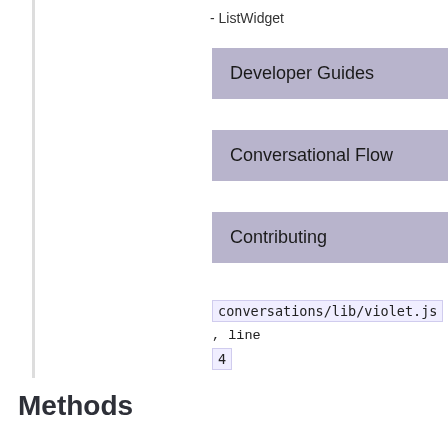- ListWidget
Developer Guides
Conversational Flow
Contributing
conversations/lib/violet.js , line 4
Methods